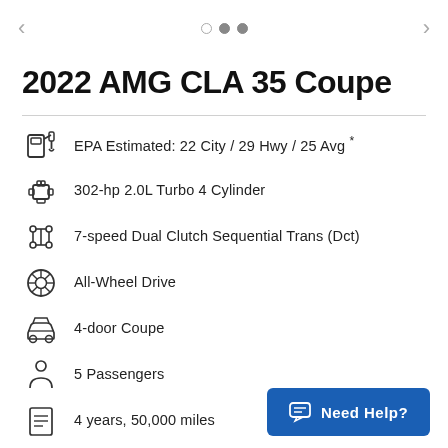< • • • >
2022 AMG CLA 35 Coupe
EPA Estimated: 22 City / 29 Hwy / 25 Avg *
302-hp 2.0L Turbo 4 Cylinder
7-speed Dual Clutch Sequential Trans (Dct)
All-Wheel Drive
4-door Coupe
5 Passengers
4 years, 50,000 miles
Need Help?